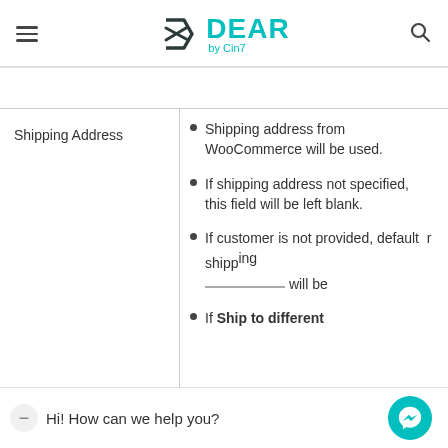DEAR by Cin7
|  |  |
| --- | --- |
| Shipping Address | • Shipping address from WooCommerce will be used.
• If shipping address not specified, this field will be left blank.
• If customer is not provided, default shipping address will be...
• If Ship to different |